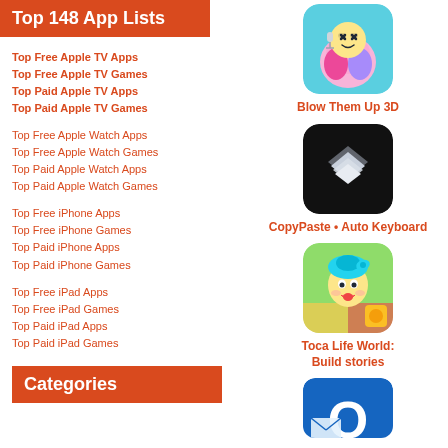Top 148 App Lists
Top Free Apple TV Apps
Top Free Apple TV Games
Top Paid Apple TV Apps
Top Paid Apple TV Games
Top Free Apple Watch Apps
Top Free Apple Watch Games
Top Paid Apple Watch Apps
Top Paid Apple Watch Games
Top Free iPhone Apps
Top Free iPhone Games
Top Paid iPhone Apps
Top Paid iPhone Games
Top Free iPad Apps
Top Free iPad Games
Top Paid iPad Apps
Top Paid iPad Games
Categories
[Figure (illustration): App icon for Blow Them Up 3D — colorful cartoon character with microphone on blue background]
Blow Them Up 3D
[Figure (illustration): App icon for CopyPaste Auto Keyboard — layered diamond shapes on black background]
CopyPaste • Auto Keyboard
[Figure (illustration): App icon for Toca Life World — anime-style character with blue hair on colorful background]
Toca Life World: Build stories
[Figure (illustration): App icon for Microsoft Outlook — blue O logo]
Microsoft Outlook